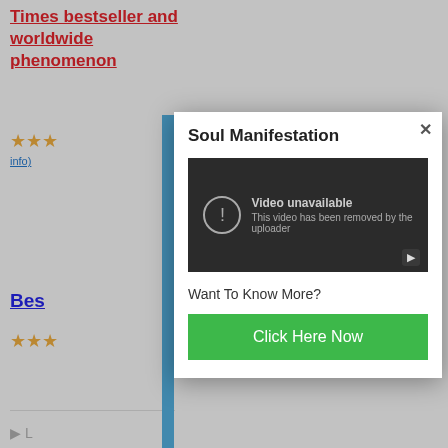Times bestseller and worldwide phenomenon
★★★ (stars)
info)
Bes
★★★ (stars)
Soul Manifestation
[Figure (screenshot): Embedded video player showing 'Video unavailable - This video has been removed by the uploader' message on dark background with YouTube play button]
Want To Know More?
Click Here Now